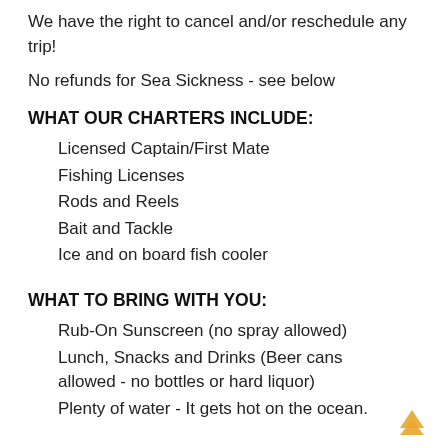We have the right to cancel and/or reschedule any trip!
No refunds for Sea Sickness - see below
WHAT OUR CHARTERS INCLUDE:
Licensed Captain/First Mate
Fishing Licenses
Rods and Reels
Bait and Tackle
Ice and on board fish cooler
WHAT TO BRING WITH YOU:
Rub-On Sunscreen (no spray allowed)
Lunch, Snacks and Drinks (Beer cans allowed  - no bottles or hard liquor)
Plenty of water - It gets hot on the ocean.